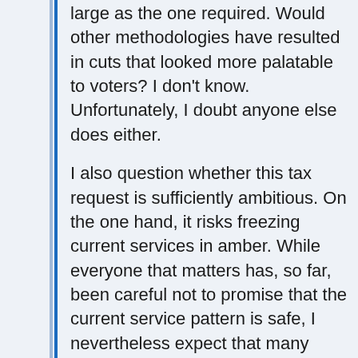large as the one required. Would other methodologies have resulted in cuts that looked more palatable to voters? I don't know. Unfortunately, I doubt anyone else does either.
I also question whether this tax request is sufficiently ambitious. On the one hand, it risks freezing current services in amber. While everyone that matters has, so far, been careful not to promise that the current service pattern is safe, I nevertheless expect that many voters will feel that a promise has been made to preserve their favorite bus. On the other, it does only enough to keep the current service levels at a time when there is an obvious need for more.